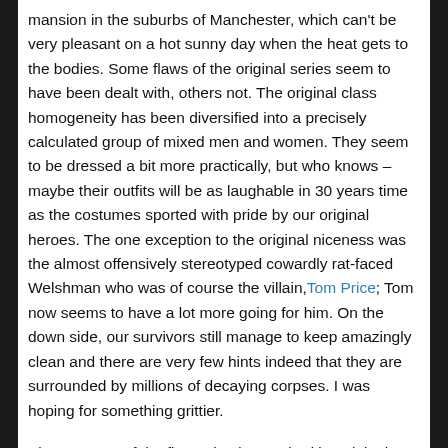mansion in the suburbs of Manchester, which can't be very pleasant on a hot sunny day when the heat gets to the bodies. Some flaws of the original series seem to have been dealt with, others not. The original class homogeneity has been diversified into a precisely calculated group of mixed men and women. They seem to be dressed a bit more practically, but who knows – maybe their outfits will be as laughable in 30 years time as the costumes sported with pride by our original heroes. The one exception to the original niceness was the almost offensively stereotyped cowardly rat-faced Welshman who was of course the villain, Tom Price; Tom now seems to have a lot more going for him. On the down side, our survivors still manage to keep amazingly clean and there are very few hints indeed that they are surrounded by millions of decaying corpses. I was hoping for something grittier.
Almost 100% of the first episode matched its original series equivalent. Last night borrowed about 50% (see? and this one …) To judge by the trailers, next week